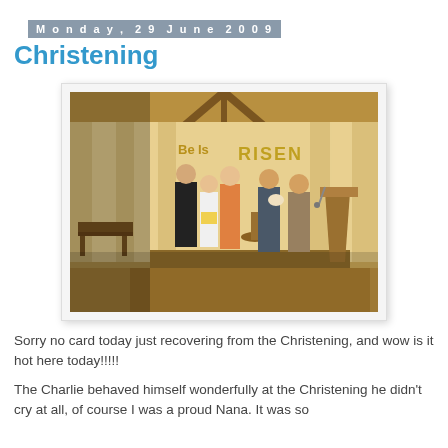Monday, 29 June 2009
Christening
[Figure (photo): A christening ceremony inside a church or chapel with wooden beams and large windows with curtains. Several people stand at the front, including a priest in black, a woman in white, a woman in a pink/orange dress, a man holding a baby, and another man. A banner reading 'RISEN' is visible in the background. A wooden lectern/pulpit is on the right side.]
Sorry no card today just recovering from the Christening, and wow is it hot here today!!!!!
The Charlie behaved himself wonderfully at the Christening he didn't cry at all, of course I was a proud Nana. It was so